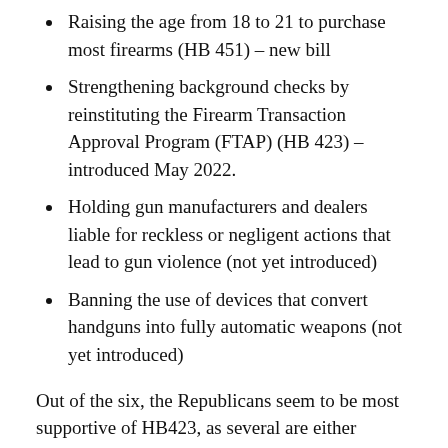Raising the age from 18 to 21 to purchase most firearms (HB 451) – new bill
Strengthening background checks by reinstituting the Firearm Transaction Approval Program (FTAP) (HB 423) – introduced May 2022.
Holding gun manufacturers and dealers liable for reckless or negligent actions that lead to gun violence (not yet introduced)
Banning the use of devices that convert handguns into fully automatic weapons (not yet introduced)
Out of the six, the Republicans seem to be most supportive of HB423, as several are either sponsoring or co-sponsoring the measure